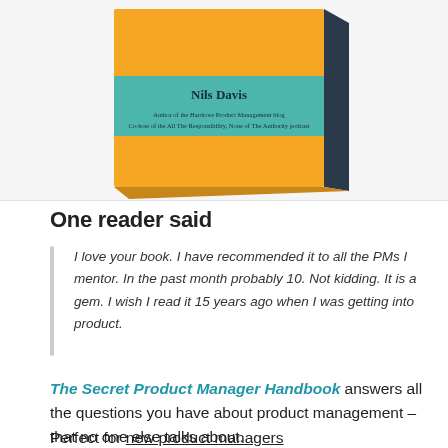[Figure (photo): 3D rendered book with yellow and teal cover titled by Nils Davis, showing author credentials on the spine.]
One reader said
I love your book. I have recommended it to all the PMs I mentor. In the past month probably 10. Not kidding. It is a gem. I wish I read it 15 years ago when I was getting into product.
The Secret Product Manager Handbook answers all the questions you have about product management – that no one else talks about.
Perfect for new product managers